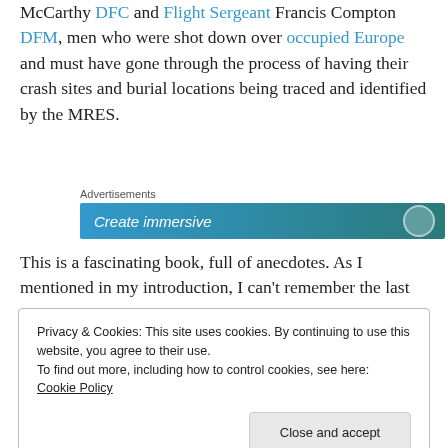McCarthy DFC and Flight Sergeant Francis Compton DFM, men who were shot down over occupied Europe and must have gone through the process of having their crash sites and burial locations being traced and identified by the MRES.
[Figure (other): Advertisements banner with 'Create immersive' text on a blue-teal gradient background]
This is a fascinating book, full of anecdotes. As I mentioned in my introduction, I can't remember the last
Privacy & Cookies: This site uses cookies. By continuing to use this website, you agree to their use.
To find out more, including how to control cookies, see here: Cookie Policy
Close and accept